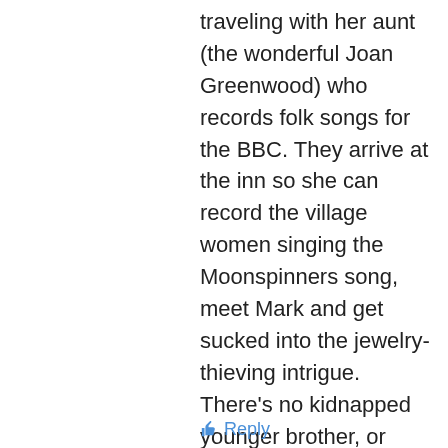traveling with her aunt (the wonderful Joan Greenwood) who records folk songs for the BBC. They arrive at the inn so she can record the village women singing the Moonspinners song, meet Mark and get sucked into the jewelry-thieving intrigue. There's no kidnapped younger brother, or incident with a spear, but there is a character named “Lady Habib” who has a pet jaguar named Shalimar, which is so awesome, I can't stand it. There's also a dramatic rescue from a windmill, and a comical ride in a hearse through carnival-thronged streets. Also, the haunting song at the beginning soothed my crying puppy to sleep, so that was a plus. The movie is a lot of fun.
Reply